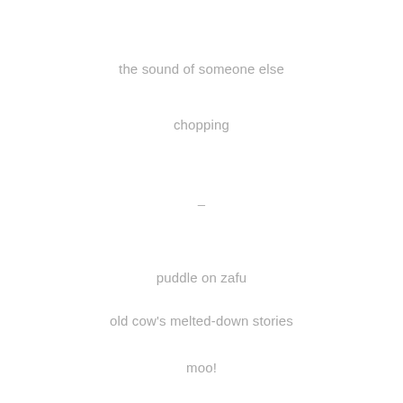the sound of someone else
chopping
–
puddle on zafu
old cow's melted-down stories
moo!